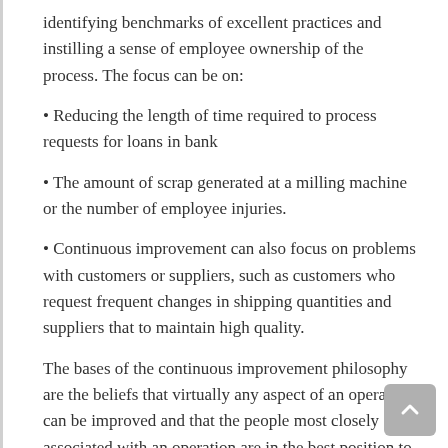identifying benchmarks of excellent practices and instilling a sense of employee ownership of the process. The focus can be on:
Reducing the length of time required to process requests for loans in bank
The amount of scrap generated at a milling machine or the number of employee injuries.
Continuous improvement can also focus on problems with customers or suppliers, such as customers who request frequent changes in shipping quantities and suppliers that to maintain high quality.
The bases of the continuous improvement philosophy are the beliefs that virtually any aspect of an operation can be improved and that the people most closely associated with an operation are in the best position to identify the changes that should be made. Consequently, employee involvement plays a big role in